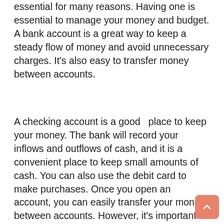essential for many reasons. Having one is essential to manage your money and budget. A bank account is a great way to keep a steady flow of money and avoid unnecessary charges. It's also easy to transfer money between accounts.
A checking account is a good  place to keep your money. The bank will record your inflows and outflows of cash, and it is a convenient place to keep small amounts of cash. You can also use the debit card to make purchases. Once you open an account, you can easily transfer your money between accounts. However, it's important to remember that it's not a savings account. A bank